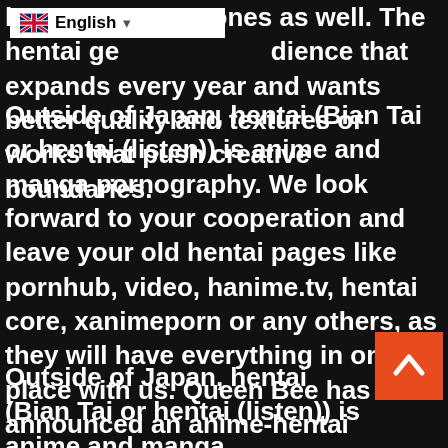[Figure (screenshot): Language selector dropdown showing UK flag and 'English' text with dropdown arrow]
but ones as well. The hentai genre is growing audience that expands every year and wants better quality and textures or works that push creative boundaries.
Outside of Japan, hentai (Bian Tai or hentai (listen)) is anime and manga pornography. We look forward to your cooperation and leave your old hentai pages like pornhub, video, hanime.tv, hentai core, xanimeporn or any others, as they will have everything in one place with us. Queen Bee has announced an anime-hentai adaptation of TYPE's "Bitch na Insane-sama" manga. It is important for to make sure that the creators of the videos know where their work is uploaded and that the